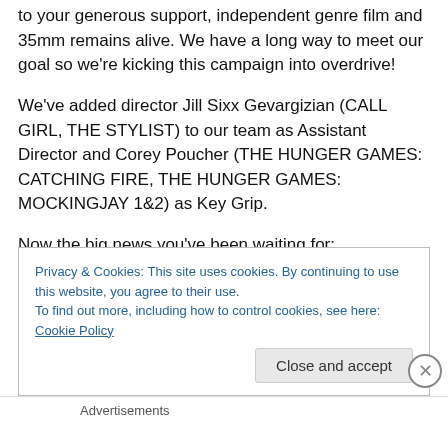to your generous support, independent genre film and 35mm remains alive. We have a long way to meet our goal so we're kicking this campaign into overdrive!
We've added director Jill Sixx Gevargizian (CALL GIRL, THE STYLIST) to our team as Assistant Director and Corey Poucher (THE HUNGER GAMES: CATCHING FIRE, THE HUNGER GAMES: MOCKINGJAY 1&2) as Key Grip.
Now the big news you've been waiting for:
Privacy & Cookies: This site uses cookies. By continuing to use this website, you agree to their use.
To find out more, including how to control cookies, see here: Cookie Policy
Close and accept
Advertisements